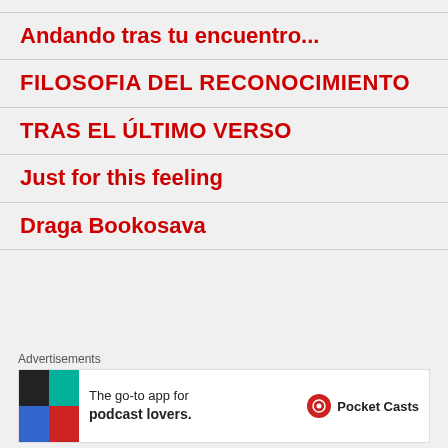Andando tras tu encuentro...
FILOSOFIA DEL RECONOCIMIENTO
TRAS EL ÚLTIMO VERSO
Just for this feeling
Draga Bookosava
Advertisements
[Figure (infographic): Pocket Casts advertisement banner: The go-to app for podcast lovers.]